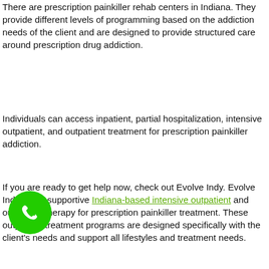There are prescription painkiller rehab centers in Indiana. They provide different levels of programming based on the addiction needs of the client and are designed to provide structured care around prescription drug addiction.
Individuals can access inpatient, partial hospitalization, intensive outpatient, and outpatient treatment for prescription painkiller addiction.
If you are ready to get help now, check out Evolve Indy. Evolve Indy offers supportive Indiana-based intensive outpatient and outpatient therapy for prescription painkiller treatment. These outpatient treatment programs are designed specifically with the client's needs and support all lifestyles and treatment needs.
[Figure (other): Green circular phone/call button icon]